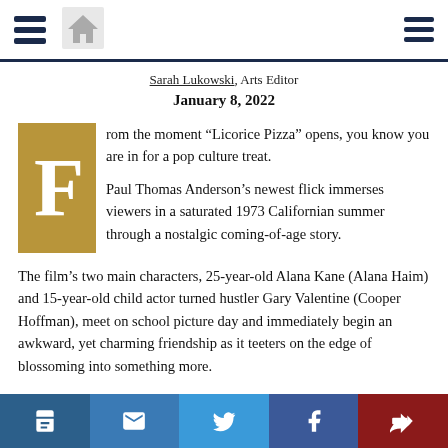Navigation bar with hamburger menu, home icon, and right hamburger menu
Sarah Lukowski, Arts Editor
January 8, 2022
From the moment “Licorice Pizza” opens, you know you are in for a pop culture treat.

Paul Thomas Anderson’s newest flick immerses viewers in a saturated 1973 Californian summer through a nostalgic coming-of-age story.
The film’s two main characters, 25-year-old Alana Kane (Alana Haim) and 15-year-old child actor turned hustler Gary Valentine (Cooper Hoffman), meet on school picture day and immediately begin an awkward, yet charming friendship as it teeters on the edge of blossoming into something more.
Alana and Gary set out to start their own entrepreneurial ventures. A waterbe… goes bust…